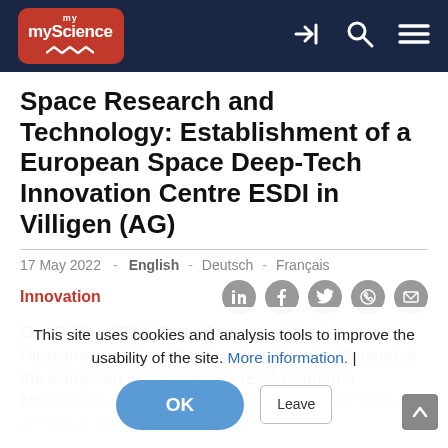myScience
Space Research and Technology: Establishment of a European Space Deep-Tech Innovation Centre ESDI in Villigen (AG)
17 May 2022  -  English - Deutsch - Français
Innovation
On 17 May 2022, State Secretary Martina Hirayama and Josef Aschbacher, Director General of the European Space Agency (ESA) signed a Memorandum of Cooperation between Switzerland and the ESA
This site uses cookies and analysis tools to improve the usability of the site. More information. |